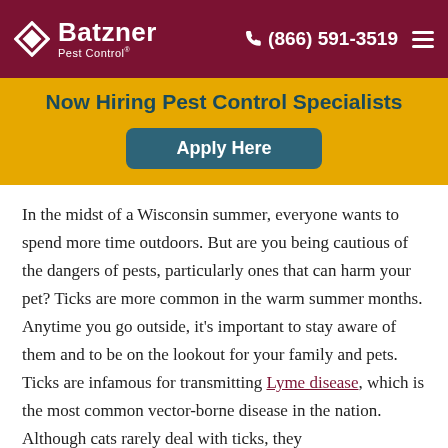Batzner Pest Control | (866) 591-3519
Now Hiring Pest Control Specialists
[Figure (other): Apply Here button (teal rounded rectangle)]
In the midst of a Wisconsin summer, everyone wants to spend more time outdoors. But are you being cautious of the dangers of pests, particularly ones that can harm your pet? Ticks are more common in the warm summer months. Anytime you go outside, it's important to stay aware of them and to be on the lookout for your family and pets. Ticks are infamous for transmitting Lyme disease, which is the most common vector-borne disease in the nation. Although cats rarely deal with ticks, they